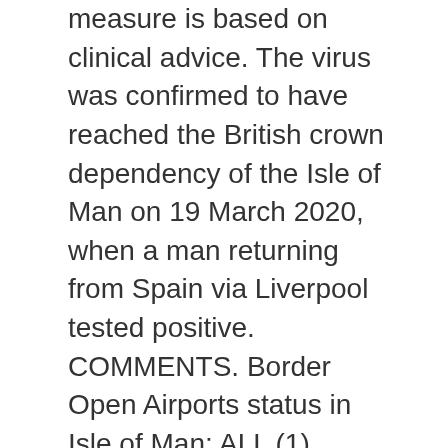measure is based on clinical advice. The virus was confirmed to have reached the British crown dependency of the Isle of Man on 19 March 2020, when a man returning from Spain via Liverpool tested positive. COMMENTS. Border Open Airports status in Isle of Man: ALL (1) OPEN (1) CLOSED (0) Open IOM. Residents who want to go on a trip will be given a unique number which must be used to complete a landing form within two days prior to their return. The Isle of Man has moved to level 4 in the Borders Framework. The Isle of Man's border has reopened to residents as coronavirus lockdown restrictions continue to be eased. Rediscover the Isle of Man's Winter Gems… Get